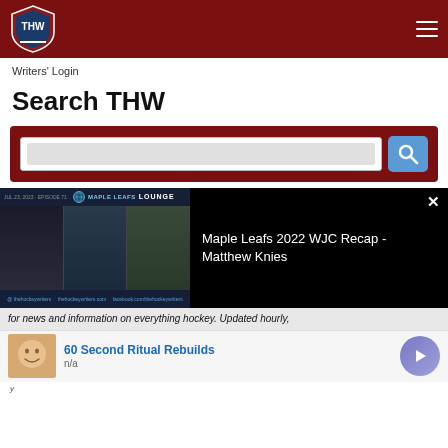THW - The Hockey Writers
Writers' Login
Search THW
[Figure (screenshot): Dark red search bar box with white input field and blue search button with magnifying glass icon]
[Figure (screenshot): Video popup showing Maple Leafs Lounge show thumbnail with three hosts and title: Maple Leafs 2022 WJC Recap - Matthew Knies]
for news and information on everything hockey. Updated hourly,
[Figure (screenshot): Advertisement: 60 Second Ritual Rebuilds, n/a, with play button]